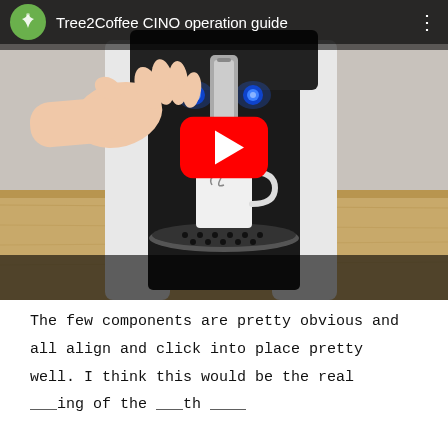[Figure (screenshot): YouTube video thumbnail showing a coffee machine (Tree2Coffee CINO) with a white mug being operated, a hand pressing a button with blue LED lights, wooden surface background. Video title bar shows 'Tree2Coffee CINO operation guide' with channel logo and YouTube play button overlay.]
The few components are pretty obvious and all align and click into place pretty well. I think this would be the real ___ing of the ___th ____